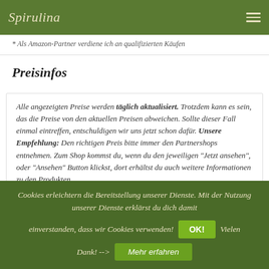Spirulina
* Als Amazon-Partner verdiene ich an qualifizierten Käufen
Preisinfos
Alle angezeigten Preise werden täglich aktualisiert. Trotzdem kann es sein, das die Preise von den aktuellen Preisen abweichen. Sollte dieser Fall einmal eintreffen, entschuldigen wir uns jetzt schon dafür. Unsere Empfehlung: Den richtigen Preis bitte immer den Partnershops entnehmen. Zum Shop kommst du, wenn du den jeweiligen "Jetzt ansehen", oder "Ansehen" Button klickst, dort erhältst du auch weitere Informationen zu den Produkten.
Cookies erleichtern die Bereitstellung unserer Dienste. Mit der Nutzung unserer Dienste erklärst du dich damit einverstanden, dass wir Cookies verwenden! OK! Vielen Dank! --> Mehr erfahren